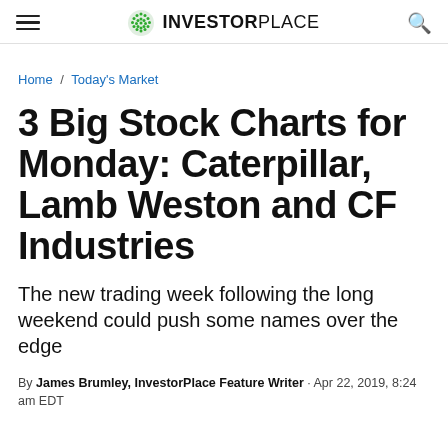INVESTORPLACE
Home / Today's Market
3 Big Stock Charts for Monday: Caterpillar, Lamb Weston and CF Industries
The new trading week following the long weekend could push some names over the edge
By James Brumley, InvestorPlace Feature Writer · Apr 22, 2019, 8:24 am EDT